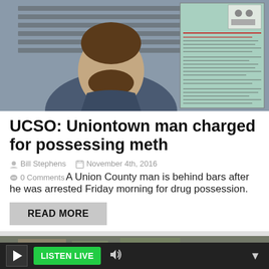[Figure (photo): Mugshot of a bearded man in blue scrubs standing in front of a booking board with charts and documents]
UCSO: Uniontown man charged for possessing meth
Bill Stephens   November 4th, 2016
0 Comments  A Union County man is behind bars after he was arrested Friday morning for drug possession.
READ MORE
[Figure (photo): Partial view of another news article image at the bottom of the page]
LISTEN LIVE